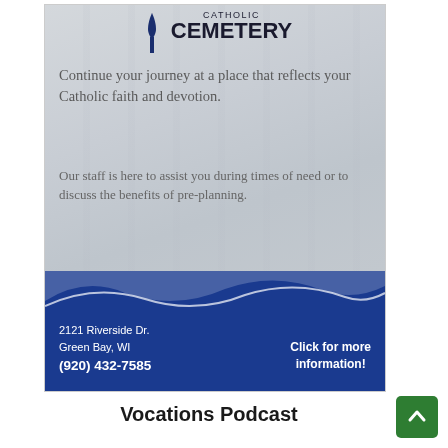[Figure (illustration): Catholic Cemetery advertisement. Top section has a faded building/mausoleum background with a logo (stylized figure/cross in dark blue) and 'CATHOLIC CEMETERY' heading. Text reads: 'Continue your journey at a place that reflects your Catholic faith and devotion.' and 'Our staff is here to assist you during times of need or to discuss the benefits of pre-planning.' Bottom blue section with wave decoration shows address: '2121 Riverside Dr. Green Bay, WI (920) 432-7585' and 'Click for more information!']
Vocations Podcast